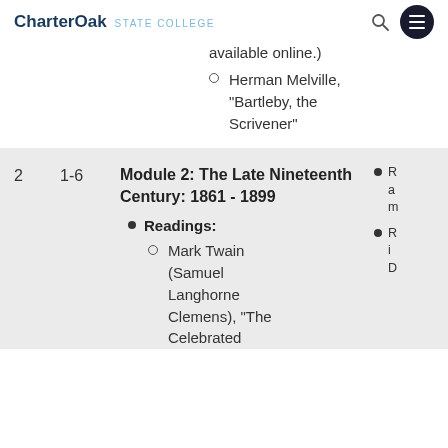CharterOak STATE COLLEGE
available online.)
Herman Melville, "Bartleby, the Scrivener"
| Week | Weeks | Module/Content | Resources |
| --- | --- | --- | --- |
| 2 | 1-6 | Module 2: The Late Nineteenth Century: 1861 - 1899
• Readings:
  ◦ Mark Twain (Samuel Langhorne Clemens), "The Celebrated | • R...a...m...
• R...i...D |